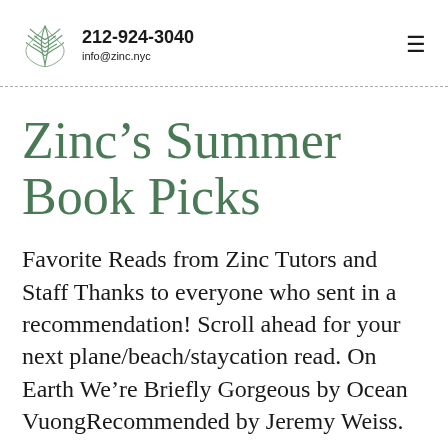212-924-3040 info@zinc.nyc
Zinc’s Summer Book Picks
Favorite Reads from Zinc Tutors and Staff Thanks to everyone who sent in a recommendation! Scroll ahead for your next plane/beach/staycation read. On Earth We’re Briefly Gorgeous by Ocean VuongRecommended by Jeremy Weiss.